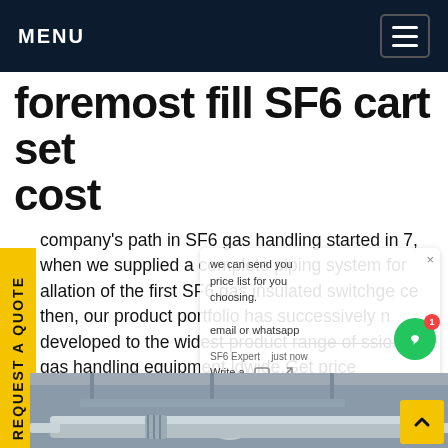MENU
foremost fill SF6 cart set cost
company's path in SF6 gas handling started in 7, when we supplied a complete piping system for allation of the first SF6 gas insulated switchge ce then, our product portfolio has successively n developed to the widest product range of ssion-free gas handling equipment ldwide.Get price
[Figure (photo): Industrial piping and equipment in a facility, showing large pipes and metal framework hanging from ceiling.]